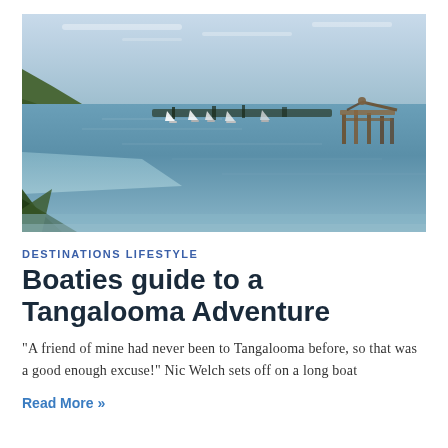[Figure (photo): Coastal scene with calm blue water, boats moored in the distance, a shipwreck or pier structure on the right, hilly green shoreline on the left, and a pale blue sky.]
DESTINATIONS LIFESTYLE
Boaties guide to a Tangalooma Adventure
“A friend of mine had never been to Tangalooma before, so that was a good enough excuse!” Nic Welch sets off on a long boat
Read More »